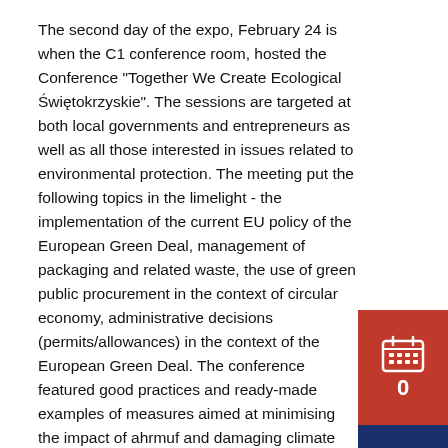The second day of the expo, February 24 is when the C1 conference room, hosted the Conference "Together We Create Ecological Świętokrzyskie". The sessions are targeted at both local governments and entrepreneurs as well as all those interested in issues related to environmental protection. The meeting put the following topics in the limelight - the implementation of the current EU policy of the European Green Deal, management of packaging and related waste, the use of green public procurement in the context of circular economy, administrative decisions (permits/allowances) in the context of the European Green Deal. The conference featured good practices and ready-made examples of measures aimed at minimising the impact of ahrmuf and damaging climate changes especially in the field of air pollution.
A detailed program of the event is available here
I know how much effort is invested into showing to Europe that our life is rooted in the environment - said Andrzej Bętkowski, Marshal of the Świętokrzyskie Voivodeship, when opening the conference. That
[Figure (infographic): Red sidebar button with calendar icon and number 0, and dark blue sidebar button with search/magnifying glass icon and label FAIRS]